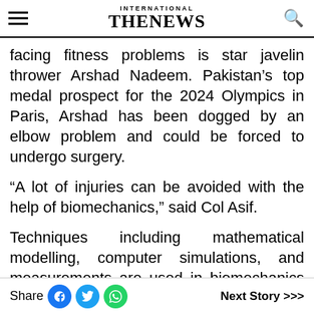INTERNATIONAL THE NEWS
facing fitness problems is star javelin thrower Arshad Nadeem. Pakistan’s top medal prospect for the 2024 Olympics in Paris, Arshad has been dogged by an elbow problem and could be forced to undergo surgery.
“A lot of injuries can be avoided with the help of biomechanics,” said Col Asif.
Techniques including mathematical modelling, computer simulations, and measurements are used in biomechanics to enhance performance and reduce injury. It also helps identify optimal movement patterns to improve sport-specific
Share | Next Story >>>